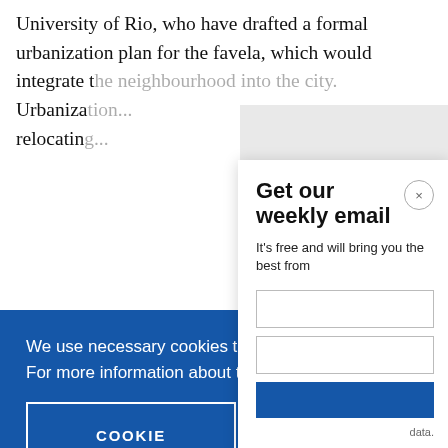University of Rio, who have drafted a formal urbanization plan for the favela, which would integrate the neighbourhood into the city. Urbanization... relocating...
[Figure (screenshot): Get our weekly email popup overlay with close button (x) and subtitle 'It's free and will bring you the best from']
[Figure (screenshot): Cookie consent banner with blue background. Text: 'We use necessary cookies that allow our site to work. We also set optional cookies that help us improve our website. For more information about the types of cookies we use. READ OUR COOKIES POLICY HERE'. Buttons: 'COOKIE SETTINGS' and 'ALLOW ALL COOKIES']
Favela da...